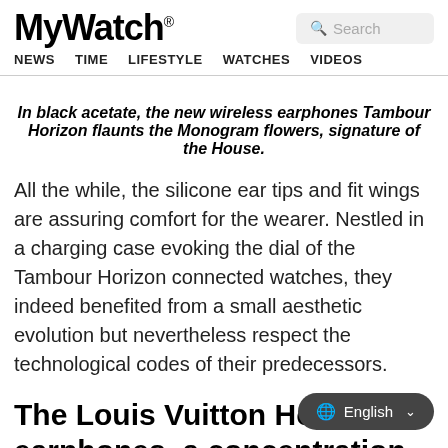MyWatch® NEWS TIME LIFESTYLE WATCHES VIDEOS
In black acetate, the new wireless earphones Tambour Horizon flaunts the Monogram flowers, signature of the House.
All the while, the silicone ear tips and fit wings are assuring comfort for the wearer. Nestled in a charging case evoking the dial of the Tambour Horizon connected watches, they indeed benefited from a small aesthetic evolution but nevertheless respect the technological codes of their predecessors.
The Louis Vuitton Horizon earphones, a concentration of